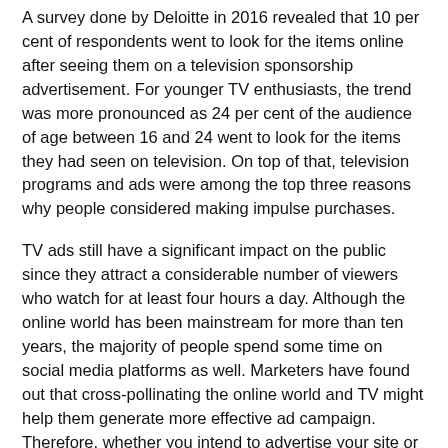A survey done by Deloitte in 2016 revealed that 10 per cent of respondents went to look for the items online after seeing them on a television sponsorship advertisement. For younger TV enthusiasts, the trend was more pronounced as 24 per cent of the audience of age between 16 and 24 went to look for the items they had seen on television. On top of that, television programs and ads were among the top three reasons why people considered making impulse purchases.
TV ads still have a significant impact on the public since they attract a considerable number of viewers who watch for at least four hours a day. Although the online world has been mainstream for more than ten years, the majority of people spend some time on social media platforms as well. Marketers have found out that cross-pollinating the online world and TV might help them generate more effective ad campaign. Therefore, whether you intend to advertise your site or you need to increase ad income on your website, make sure you use television advertising to conduct an effective campaign.
TV ads demonstrate how the product is used